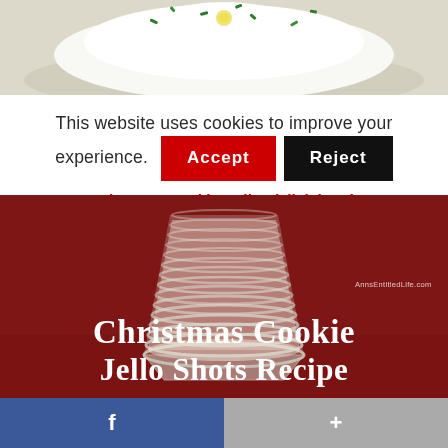[Figure (photo): Top portion of a dessert/jello shot with whipped cream and green sprinkles, cropped at top of page]
This website uses cookies to improve your experience.
Accept  Reject
Privacy & Cookie Policy (click here)
[Figure (photo): Stack of clear plastic jello shot cups on a red background with text 'Christmas Cookie Jello Shots Recipe' overlaid, watermark AnnsEntitledLife.com]
f  +